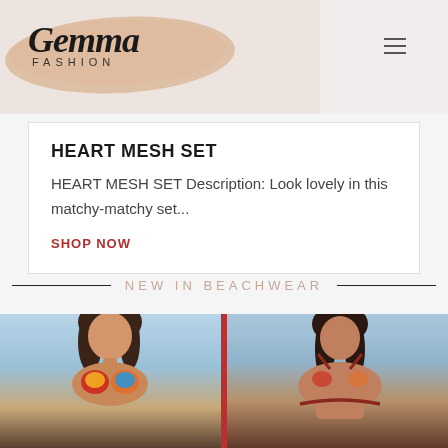[Figure (logo): Gemma Fashion logo with brush stroke background in tan/peach color, script font for Gemma and sans-serif for FASHION]
HEART MESH SET
HEART MESH SET Description: Look lovely in this matchy-matchy set...
SHOP NOW
NEW IN BEACHWEAR
[Figure (photo): Two women in colorful tropical print bikinis/beachwear, outdoor setting near water, split image side by side]